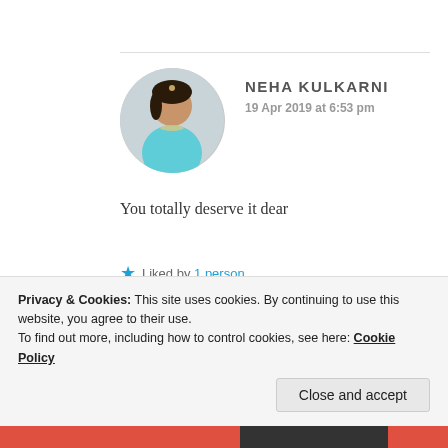NEHA KULKARNI
19 Apr 2019 at 6:53 pm
You totally deserve it dear
★ Liked by 1 person
ZEALOUS HOMO SAPIENS
Privacy & Cookies: This site uses cookies. By continuing to use this website, you agree to their use.
To find out more, including how to control cookies, see here: Cookie Policy
Close and accept